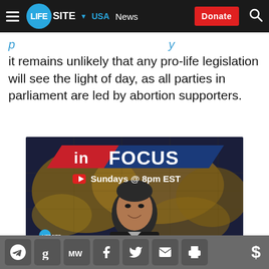LifeSite • USA • News • Donate
it remains unlikely that any pro-life legislation will see the light of day, as all parties in parliament are led by abortion supporters.
[Figure (illustration): IN FOCUS promotional banner with a man in a suit against a world map background. Text reads 'IN FOCUS' and 'Sundays @ 8pm EST' with a YouTube play icon. LifeSite logo in bottom left corner.]
Social sharing icons: Telegram, GetTR, MeWe, Facebook, Twitter, Email, Print, Donate ($)